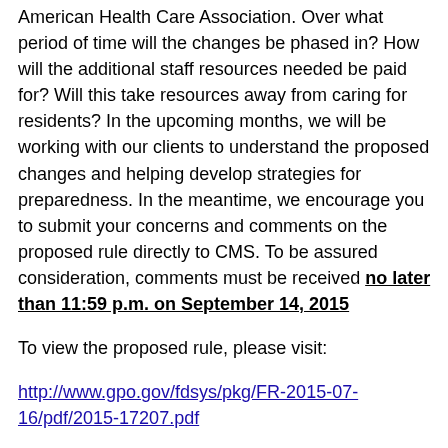American Health Care Association. Over what period of time will the changes be phased in? How will the additional staff resources needed be paid for? Will this take resources away from caring for residents? In the upcoming months, we will be working with our clients to understand the proposed changes and helping develop strategies for preparedness. In the meantime, we encourage you to submit your concerns and comments on the proposed rule directly to CMS. To be assured consideration, comments must be received no later than 11:59 p.m. on September 14, 2015
To view the proposed rule, please visit:
http://www.gpo.gov/fdsys/pkg/FR-2015-07-16/pdf/2015-17207.pdf
To submit a comment, visit the following and click on